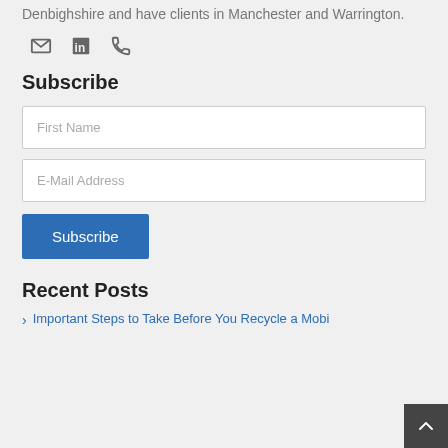Denbighshire and have clients in Manchester and Warrington.
[Figure (infographic): Row of three icons: envelope (email), LinkedIn 'in' logo, telephone handset]
Subscribe
First Name
E-Mail Address
Subscribe
Recent Posts
Important Steps to Take Before You Recycle a Mobi